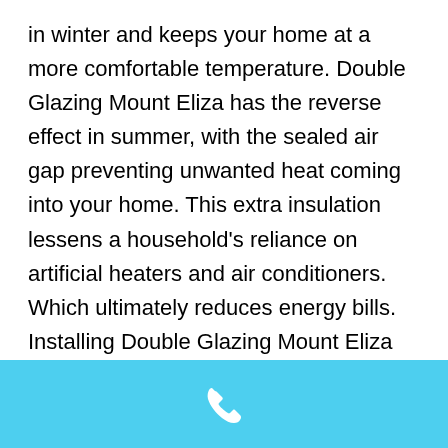in winter and keeps your home at a more comfortable temperature. Double Glazing Mount Eliza has the reverse effect in summer, with the sealed air gap preventing unwanted heat coming into your home. This extra insulation lessens a household's reliance on artificial heaters and air conditioners. Which ultimately reduces energy bills. Installing Double Glazing Mount Eliza makes it harder for the outside temperature to transfer through to inside your home. Leaving the inside pane very close to room temperature. Double Glazing Mount Eliza also reduces condensation, which can result in the formation of unhealthy mould.
[Figure (other): Sky blue footer bar with a white telephone handset icon centered within it.]